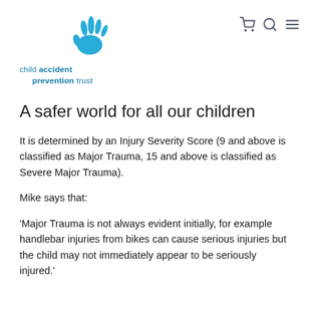child accident prevention trust
A safer world for all our children
It is determined by an Injury Severity Score (9 and above is classified as Major Trauma, 15 and above is classified as Severe Major Trauma).
Mike says that:
‘Major Trauma is not always evident initially, for example handlebar injuries from bikes can cause serious injuries but the child may not immediately appear to be seriously injured.’